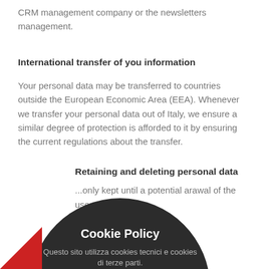CRM management company or the newsletters management.
International transfer of you information
Your personal data may be transferred to countries outside the European Economic Area (EEA). Whenever we transfer your personal data out of Italy, we ensure a similar degree of protection is afforded to it by ensuring the current regulations about the transfer.
Retaining and deleting personal data
...only kept until a potential arawal of the user.
[Figure (infographic): Cookie Policy popup overlay with dark circular background. Title: 'Cookie Policy'. Subtitle: 'Questo sito utilizza cookies tecnici e cookies di terze parti.' Link text: 'Click per maggiori informazioni'. Description: 'Se continui in qualsiasi modo accetti la nostra policy sui cookies.' Green checkmark circle at bottom.]